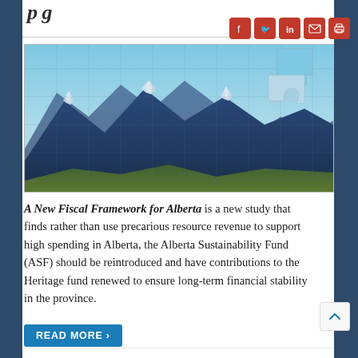p g
[Figure (photo): Mountain landscape scene assembled as a jigsaw puzzle with one piece missing in the upper right corner, set against a blue sky background.]
A New Fiscal Framework for Alberta is a new study that finds rather than use precarious resource revenue to support high spending in Alberta, the Alberta Sustainability Fund (ASF) should be reintroduced and have contributions to the Heritage fund renewed to ensure long-term financial stability in the province.
READ MORE ›